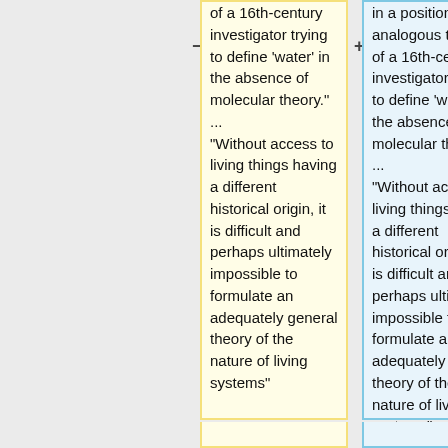of a 16th-century investigator trying to define 'water' in the absence of molecular theory." ... "Without access to living things having a different historical origin, it is difficult and perhaps ultimately impossible to formulate an adequately general theory of the nature of living systems"
in a position analogous to that of a 16th-century investigator trying to define 'water' in the absence of molecular theory." ... "Without access to living things having a different historical origin, it is difficult and perhaps ultimately impossible to formulate an adequately general theory of the nature of living systems"